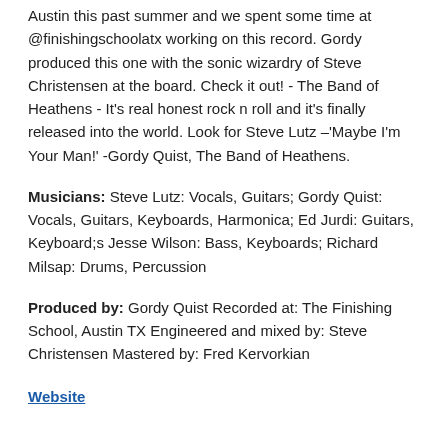Austin this past summer and we spent some time at @finishingschoolatx working on this record. Gordy produced this one with the sonic wizardry of Steve Christensen at the board. Check it out! - The Band of Heathens - It's real honest rock n roll and it's finally released into the world. Look for Steve Lutz –'Maybe I'm Your Man!' -Gordy Quist, The Band of Heathens.
Musicians: Steve Lutz: Vocals, Guitars; Gordy Quist: Vocals, Guitars, Keyboards, Harmonica; Ed Jurdi: Guitars, Keyboard;s Jesse Wilson: Bass, Keyboards; Richard Milsap: Drums, Percussion
Produced by: Gordy Quist Recorded at: The Finishing School, Austin TX Engineered and mixed by: Steve Christensen Mastered by: Fred Kervorkian
Website